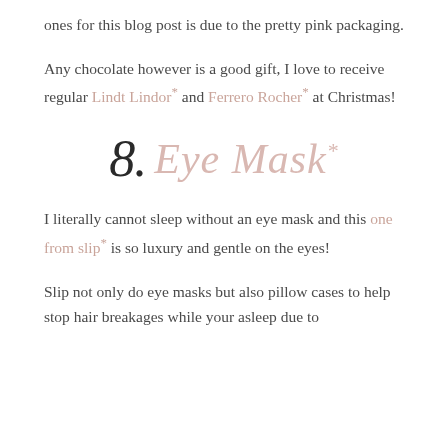ones for this blog post is due to the pretty pink packaging.
Any chocolate however is a good gift, I love to receive regular Lindt Lindor* and Ferrero Rocher* at Christmas!
8. Eye Mask*
I literally cannot sleep without an eye mask and this one from slip* is so luxury and gentle on the eyes!
Slip not only do eye masks but also pillow cases to help stop hair breakages while your asleep due to